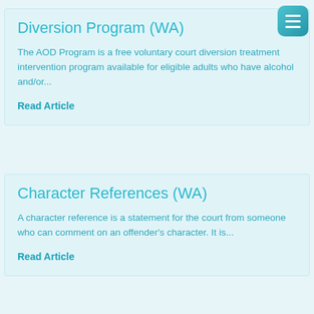Diversion Program (WA)
The AOD Program is a free voluntary court diversion treatment intervention program available for eligible adults who have alcohol and/or...
Read Article
Character References (WA)
A character reference is a statement for the court from someone who can comment on an offender's character. It is...
Read Article